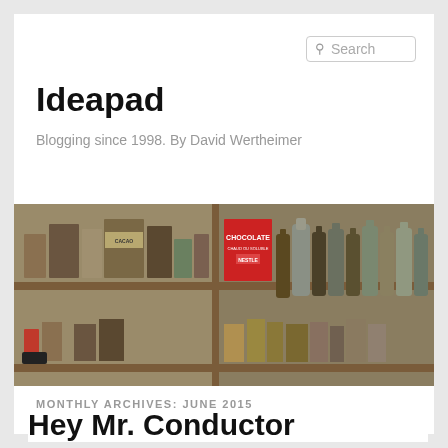Search
Ideapad
Blogging since 1998. By David Wertheimer
[Figure (photo): Photograph of vintage kitchen shelves with old canned goods, bottles, and a Nestlé Chocolate box arranged on wooden shelves]
MONTHLY ARCHIVES: JUNE 2015
Hey Mr. Conductor